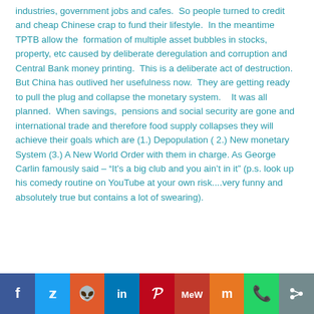industries, government jobs and cafes.  So people turned to credit and cheap Chinese crap to fund their lifestyle.  In the meantime TPTB allow the  formation of multiple asset bubbles in stocks, property, etc caused by deliberate deregulation and corruption and Central Bank money printing.  This is a deliberate act of destruction.  But China has outlived her usefulness now.  They are getting ready to pull the plug and collapse the monetary system.    It was all planned.  When savings,  pensions and social security are gone and international trade and therefore food supply collapses they will achieve their goals which are (1.) Depopulation ( 2.) New monetary System (3.) A New World Order with them in charge. As George Carlin famously said – “It’s a big club and you ain’t in it” (p.s. look up his comedy routine on YouTube at your own risk....very funny and absolutely true but contains a lot of swearing).
[Figure (infographic): Social sharing bar with icons: Facebook (blue), Twitter (light blue), Reddit (orange), LinkedIn (dark blue), Pinterest (red), MeWe (dark red), Mix (orange), WhatsApp (green), Share (grey)]